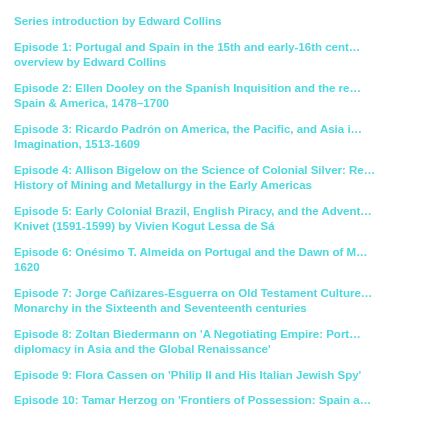Series introduction by Edward Collins
Episode 1: Portugal and Spain in the 15th and early-16th cent… overview by Edward Collins
Episode 2: Ellen Dooley on the Spanish Inquisition and the re… Spain & America, 1478–1700
Episode 3: Ricardo Padrón on America, the Pacific, and Asia i… Imagination, 1513-1609
Episode 4: Allison Bigelow on the Science of Colonial Silver: Re… History of Mining and Metallurgy in the Early Americas
Episode 5: Early Colonial Brazil, English Piracy, and the Advent… Knivet (1591-1599) by Vivien Kogut Lessa de Sá
Episode 6: Onésimo T. Almeida on Portugal and the Dawn of M… 1620
Episode 7: Jorge Cañizares-Esguerra on Old Testament Culture… Monarchy in the Sixteenth and Seventeenth centuries
Episode 8: Zoltan Biedermann on 'A Negotiating Empire: Port… diplomacy in Asia and the Global Renaissance'
Episode 9: Flora Cassen on 'Philip II and His Italian Jewish Spy'
Episode 10: Tamar Herzog on 'Frontiers of Possession: Spain a…